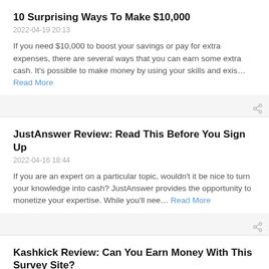10 Surprising Ways To Make $10,000
2022-04-19 20:13
If you need $10,000 to boost your savings or pay for extra expenses, there are several ways that you can earn some extra cash. It's possible to make money by using your skills and exis… Read More
JustAnswer Review: Read This Before You Sign Up
2022-04-16 18:44
If you are an expert on a particular topic, wouldn't it be nice to turn your knowledge into cash? JustAnswer provides the opportunity to monetize your expertise. While you'll nee… Read More
Kashkick Review: Can You Earn Money With This Survey Site?
2022-04-14 09:29
If you need to make money, the internet is full of opportunities. Kashkick